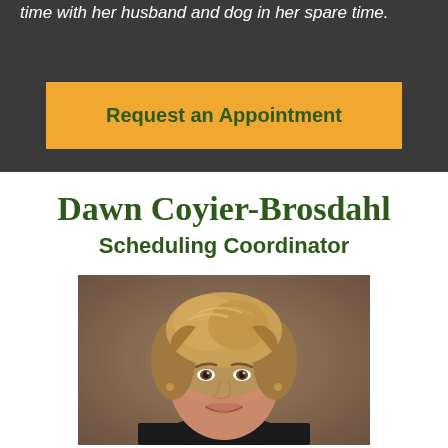time with her husband and dog in her spare time.
Request an Appointment
Dawn Coyier-Brosdahl
Scheduling Coordinator
[Figure (photo): Professional headshot of Dawn Coyier-Brosdahl, a woman with layered blonde-brown hair, smiling, wearing dark clothing, against a brown studio background.]